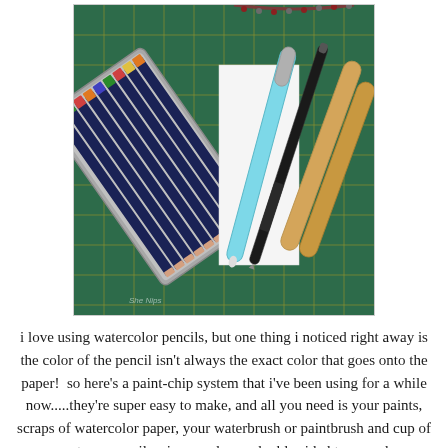[Figure (photo): Overhead photo of art supplies on a green cutting mat: a tin case of dark blue colored/watercolor pencils with colorful tips, a light blue waterbrush pen, a black mechanical pencil, wooden craft sticks (popsicle sticks), and a beaded necklace in the upper right corner.]
i love using watercolor pencils, but one thing i noticed right away is the color of the pencil isn't always the exact color that goes onto the paper!  so here's a paint-chip system that i've been using for a while now.....they're super easy to make, and all you need is your paints, scraps of watercolor paper, your waterbrush or paintbrush and cup of water, a pencil, scissors, glue or double sided tape, and